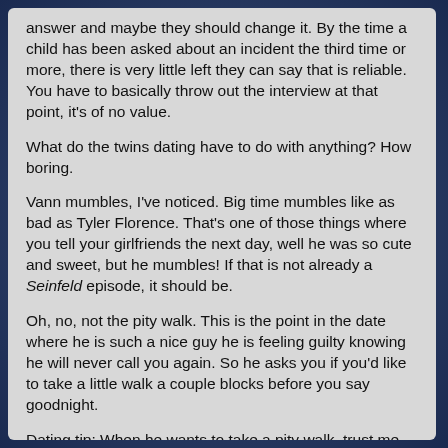answer and maybe they should change it. By the time a child has been asked about an incident the third time or more, there is very little left they can say that is reliable. You have to basically throw out the interview at that point, it's of no value.
What do the twins dating have to do with anything? How boring.
Vann mumbles, I've noticed. Big time mumbles like as bad as Tyler Florence. That's one of those things where you tell your girlfriends the next day, well he was so cute and sweet, but he mumbles! If that is not already a Seinfeld episode, it should be.
Oh, no, not the pity walk. This is the point in the date where he is such a nice guy he is feeling guilty knowing he will never call you again. So he asks you if you'd like to take a little walk a couple blocks before you say goodnight.
Dating tip: When he wants to take a pity walk, trust me, it's a pity walk.